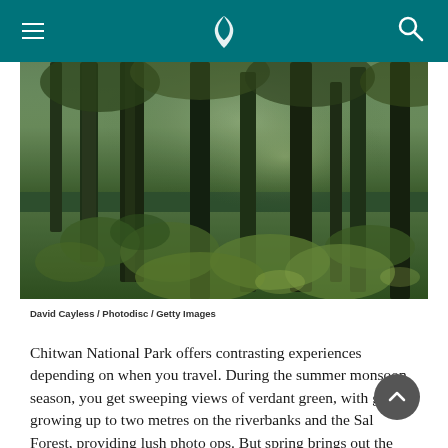Cathay Pacific navigation header with menu, logo, and search
[Figure (photo): A lush, misty forest with tall trees, moss-covered bark, and dense green undergrowth with dappled light filtering through the canopy.]
David Cayless / Photodisc / Getty Images
Chitwan National Park offers contrasting experiences depending on when you travel. During the summer monsoon season, you get sweeping views of verdant green, with grass growing up to two metres on the riverbanks and the Sal Forest, providing lush photo ops. But spring brings out the